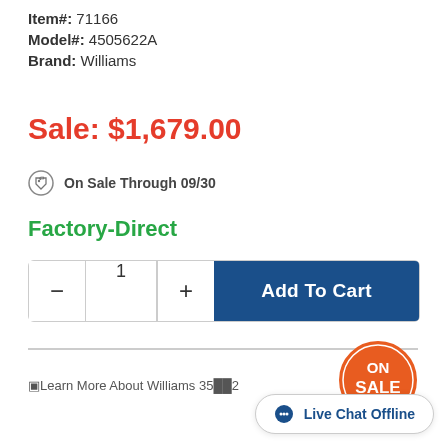Item#: 71166
Model#: 4505622A
Brand: Williams
Sale: $1,679.00
On Sale Through 09/30
Factory-Direct
[Figure (other): Add to Cart quantity selector with minus, quantity field showing 1, plus button, and Add To Cart button in dark blue]
[Figure (other): ON SALE circular orange stamp badge]
Learn More About Williams 35[...]2
Live Chat Offline